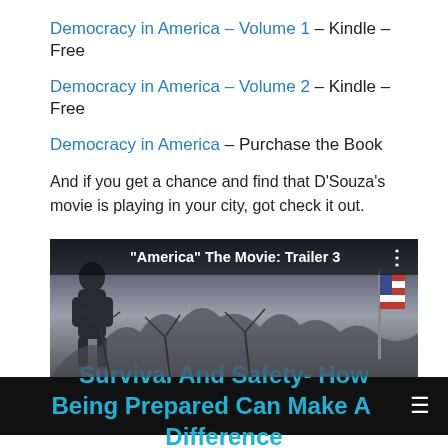Democracy in America – Volume 1 – Kindle – Free
Democracy in America – Volume 2 – Kindle – Free
Democracy in America – Purchase the Book
And if you get a chance and find that D'Souza's movie is playing in your city, got check it out.
[Figure (screenshot): Video thumbnail showing 'America' The Movie: Trailer 3 with a speaker silhouette on left, tree branches, and American flag on right against dark background]
Survival And Safety- How Being Prepared Can Make A Difference